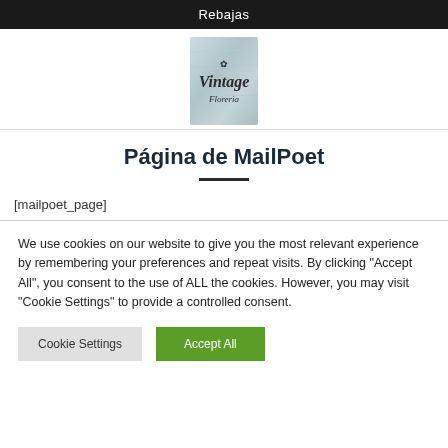Rebajas
[Figure (logo): Vintage Florería logo on a light blue-grey wood-grain background]
Página de MailPoet
[mailpoet_page]
We use cookies on our website to give you the most relevant experience by remembering your preferences and repeat visits. By clicking "Accept All", you consent to the use of ALL the cookies. However, you may visit "Cookie Settings" to provide a controlled consent.